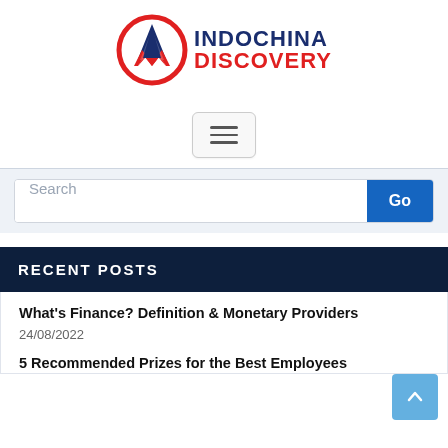[Figure (logo): Indochina Discovery logo: red circle with blue mountain/arrow shape and red M shape inside, with text INDOCHINA DISCOVERY in blue and red to the right]
[Figure (other): Hamburger menu button with three horizontal bars, bordered box]
Search
Go
RECENT POSTS
What's Finance? Definition & Monetary Providers
24/08/2022
5 Recommended Prizes for the Best Employees